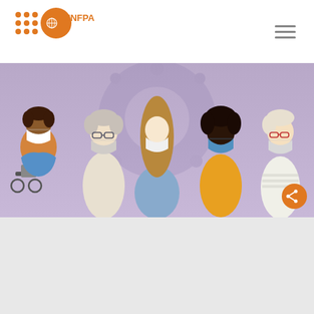[Figure (logo): UNFPA logo with orange circle and dot grid pattern on white header bar]
[Figure (illustration): Illustration of five diverse women wearing face masks against a purple COVID-19 virus background. One woman is in a wheelchair.]
[Figure (illustration): Book cover thumbnail: 'The Impact of COVID-19 on Women and Girls with Disabilities — A Global Assessment and Case Studies on Sexual and Reproductive Health and Rights, Gender-Based Violence, and Related Rights']
THE IMPACT OF COVID-19 ON WOMEN AND GIRLS WITH DISABILITIES
A Global Assessment and Case Studies on Sexual and Reproductive Health and Rights, Gender-Based Violence, and Related Rights